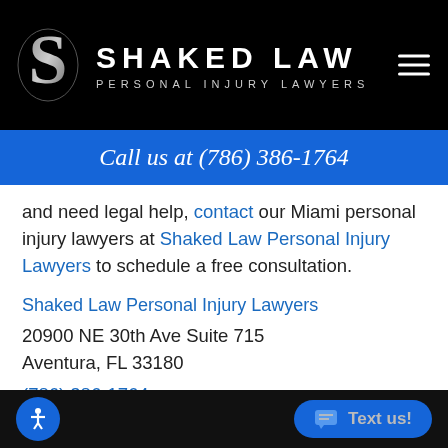SHAKED LAW PERSONAL INJURY LAWYERS
Call us at (786) 386-1764
and need legal help, contact our Miami personal injury lawyers at Shaked Law Personal Injury Lawyers to schedule a free consultation.
Shaked Law Personal Injury Lawyers
20900 NE 30th Ave Suite 715
Aventura, FL 33180
(786) 386-1764
Text us!